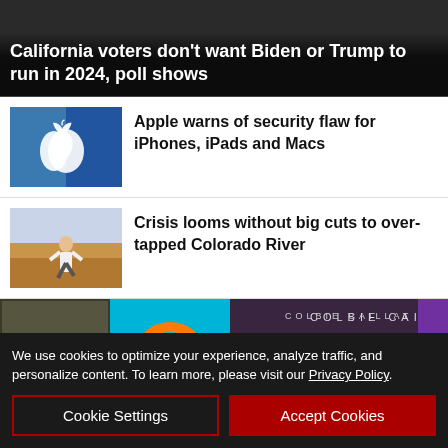California voters don’t want Biden or Trump to run in 2024, poll shows
[Figure (photo): Apple logo on blue building exterior]
Apple warns of security flaw for iPhones, iPads and Macs
[Figure (photo): Person kneeling in dry desert farmland]
Crisis looms without big cuts to over-tapped Colorado River
[Figure (photo): Colbie Caillat concert advertisement banner for Rodney Strong, August 27, 2022, LBC]
We use cookies to optimize your experience, analyze traffic, and personalize content. To learn more, please visit our Privacy Policy.
Cookie Settings
Accept Cookies